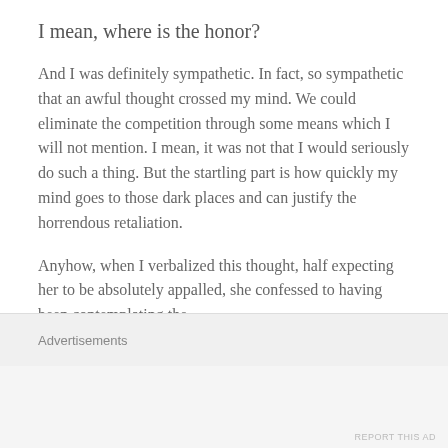I mean, where is the honor?
And I was definitely sympathetic. In fact, so sympathetic that an awful thought crossed my mind. We could eliminate the competition through some means which I will not mention. I mean, it was not that I would seriously do such a thing. But the startling part is how quickly my mind goes to those dark places and can justify the horrendous retaliation.
Anyhow, when I verbalized this thought, half expecting her to be absolutely appalled, she confessed to having been contemplating the
Advertisements
REPORT THIS AD